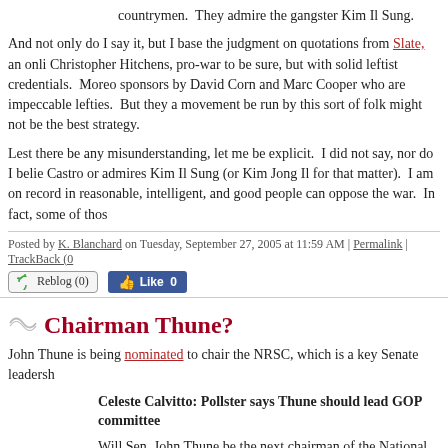countrymen.  They admire the gangster Kim Il Sung.
And not only do I say it, but I base the judgment on quotations from Slate, an online magazine run by Christopher Hitchens, pro-war to be sure, but with solid leftist credentials.  Moreover, it was co-sponsors by David Corn and Marc Cooper who are impeccable lefties.  But they are arguing that the movement be run by this sort of folk might not be the best strategy.
Lest there be any misunderstanding, let me be explicit.  I did not say, nor do I believe that everyone who opposes the war Castro or admires Kim Il Sung (or Kim Jong Il for that matter).  I am on record in many places saying that reasonable, intelligent, and good people can oppose the war.  In fact, some of those
Posted by K. Blanchard on Tuesday, September 27, 2005 at 11:59 AM | Permalink | TrackBack (0
Reblog (0)
Like 0
Chairman Thune?
John Thune is being nominated to chair the NRSC, which is a key Senate leadership
Celeste Calvitto: Pollster says Thune should lead GOP committee
Will Sen. John Thune be the next chairman of the National Republican Sen
He ought to be, according to David Winston, a Republican pollster and co newspaper.
Winston said in a telephone interview that in addition to Thune's "giant kil Minority Leader Tom Daschle last year, his role in the successful fight to s